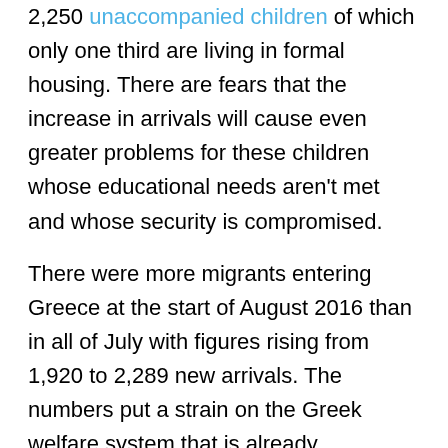2,250 unaccompanied children of which only one third are living in formal housing. There are fears that the increase in arrivals will cause even greater problems for these children whose educational needs aren't met and whose security is compromised.
There were more migrants entering Greece at the start of August 2016 than in all of July with figures rising from 1,920 to 2,289 new arrivals. The numbers put a strain on the Greek welfare system that is already vulnerable as a result of the ongoing recession. This means that refugee families have long periods of waiting before they can be properly registered.